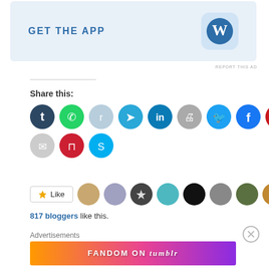[Figure (screenshot): GET THE APP banner with WordPress logo on light blue background]
REPORT THIS AD
Share this:
[Figure (infographic): Row of social media sharing icon circles: Tumblr, WhatsApp, Reddit, Telegram, LinkedIn, Print, Twitter, Facebook, Pinterest]
[Figure (infographic): Second row of social sharing icons: Email, Pocket, Skype]
[Figure (infographic): Like button with star icon, followed by 9 blogger avatar circles]
817 bloggers like this.
Advertisements
[Figure (screenshot): FANDOM ON tumblr colorful advertisement banner with gradient orange to purple background]